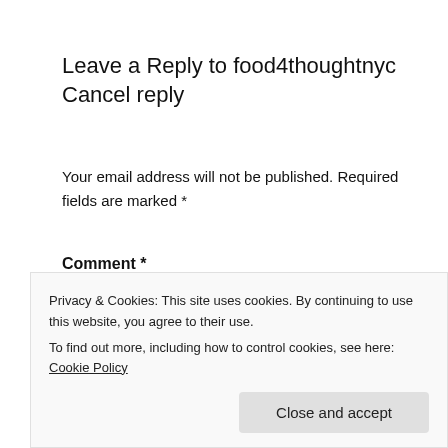Leave a Reply to food4thoughtnyc Cancel reply
Your email address will not be published. Required fields are marked *
Comment *
Privacy & Cookies: This site uses cookies. By continuing to use this website, you agree to their use.
To find out more, including how to control cookies, see here: Cookie Policy
Close and accept